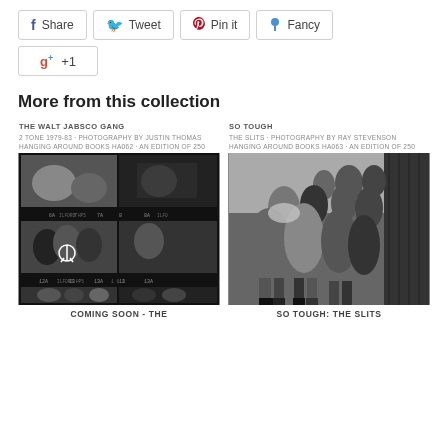[Figure (other): Social share buttons row: Share (Facebook), Tweet (Twitter), Pin it (Pinterest), Fancy]
[Figure (other): Google +1 button]
More from this collection
[Figure (photo): Left product card: THE WALT JABSCO GANG - 2 TONE 1979-83 - PHOTOGRAPHY BY JUSTIN THOMAS. Contact sheet style black and white photo collage.]
COMING SOON - THE
[Figure (photo): Right product card: SO TOUGH - THE SLITS - PHOTOGRAPHY BY RAY STEVENSON. Black and white group photo of The Slits band members.]
SO TOUGH: THE SLITS